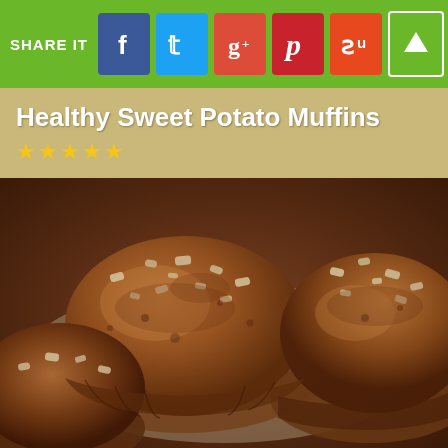SHARE IT
Healthy Sweet Potato Muffins ★★★★★
[Figure (photo): Close-up photo of healthy sweet potato muffins topped with chopped walnuts and cinnamon sugar, multiple muffins visible on a light surface]